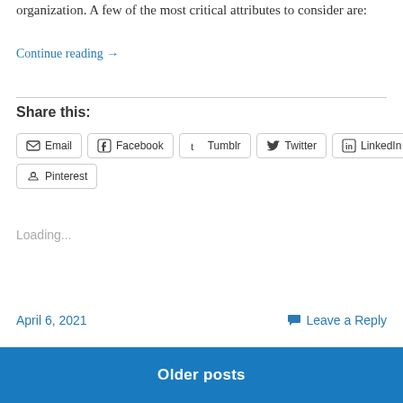organization. A few of the most critical attributes to consider are:
Continue reading →
Share this:
Email  Facebook  Tumblr  Twitter  LinkedIn  Pinterest
Loading...
April 6, 2021
Leave a Reply
Older posts